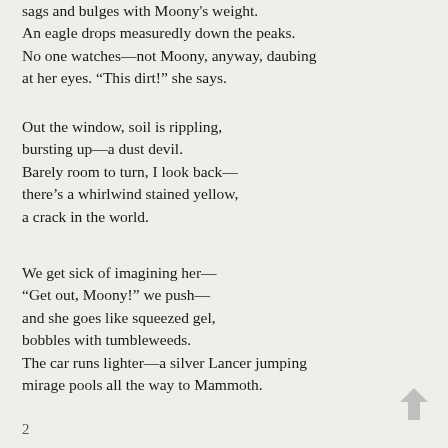sags and bulges with Moony's weight.
An eagle drops measuredly down the peaks.
No one watches—not Moony, anyway, daubing
at her eyes. “This dirt!” she says.
Out the window, soil is rippling,
bursting up—a dust devil.
Barely room to turn, I look back—
there’s a whirlwind stained yellow,
a crack in the world.
We get sick of imagining her—
“Get out, Moony!” we push—
and she goes like squeezed gel,
bobbles with tumbleweeds.
The car runs lighter—a silver Lancer jumping
mirage pools all the way to Mammoth.
2